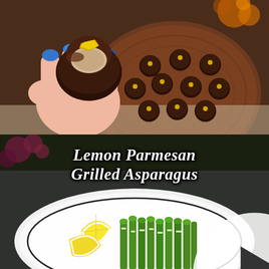[Figure (photo): A hand with blue painted nails holding a bitten dark chocolate truffle with gold leaf on top, over a wooden board with multiple dark chocolate truffles decorated with gold dots]
[Figure (photo): A plate with lemon slices and grilled asparagus sprinkled with parmesan, with a play button overlay and cursive text reading 'Lemon Parmesan Grilled Asparagus' overlaid on the image]
Lemon Parmesan Grilled Asparagus